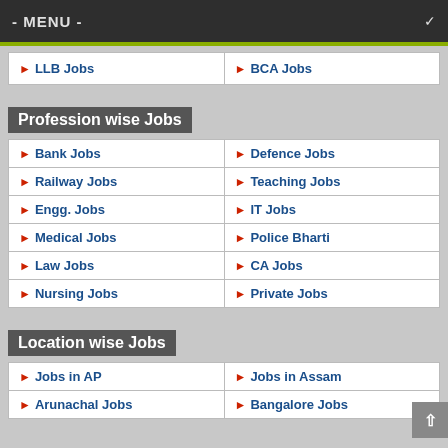- MENU -
| LLB Jobs | BCA Jobs |
Profession wise Jobs
| Bank Jobs | Defence Jobs |
| Railway Jobs | Teaching Jobs |
| Engg. Jobs | IT Jobs |
| Medical Jobs | Police Bharti |
| Law Jobs | CA Jobs |
| Nursing Jobs | Private Jobs |
Location wise Jobs
| Jobs in AP | Jobs in Assam |
| Arunachal Jobs | Bangalore Jobs |